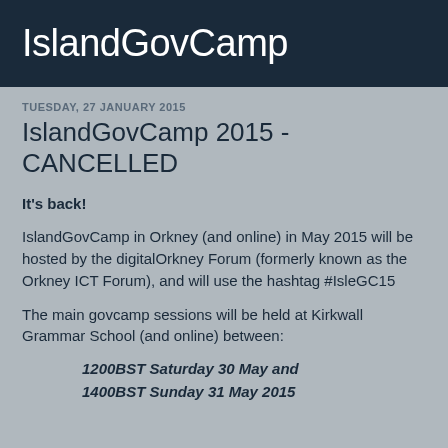IslandGovCamp
TUESDAY, 27 JANUARY 2015
IslandGovCamp 2015 - CANCELLED
It's back!
IslandGovCamp in Orkney (and online) in May 2015 will be hosted by the digitalOrkney Forum (formerly known as the Orkney ICT Forum), and will use the hashtag #IsleGC15
The main govcamp sessions will be held at Kirkwall Grammar School (and online) between:
1200BST Saturday 30 May and
1400BST Sunday 31 May 2015